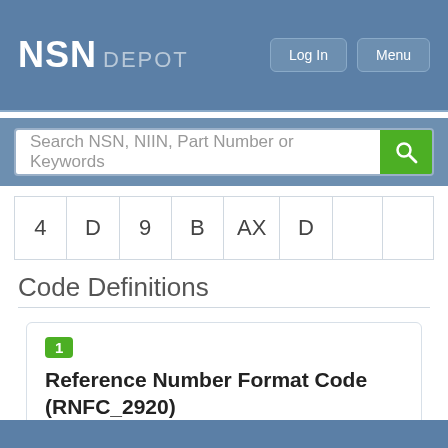NSN DEPOT
| 4 | D | 9 | B | AX | D |  |  |
Code Definitions
1
Reference Number Format Code (RNFC_2920)
Number is formatted as configured on the originating document with the exception of the